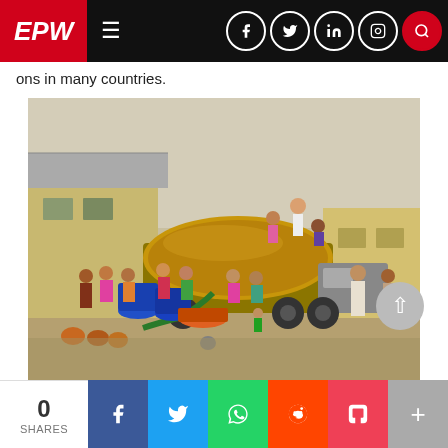EPW
ons in many countries.
[Figure (photo): Crowd of people gathering around a yellow water tanker truck in a dusty open area. People are carrying pots, buckets, and blue barrels to collect water. Some people are on top of the tanker. Buildings visible in the background.]
0 SHARES | Facebook | Twitter | WhatsApp | Reddit | Pocket | More